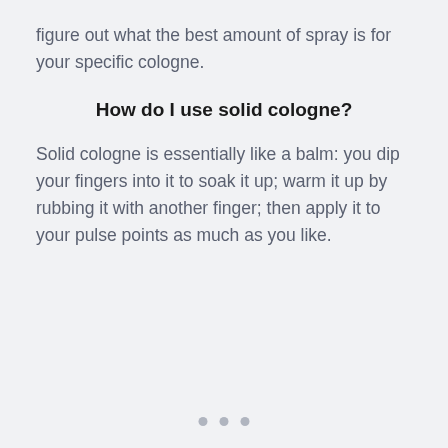figure out what the best amount of spray is for your specific cologne.
How do I use solid cologne?
Solid cologne is essentially like a balm: you dip your fingers into it to soak it up; warm it up by rubbing it with another finger; then apply it to your pulse points as much as you like.